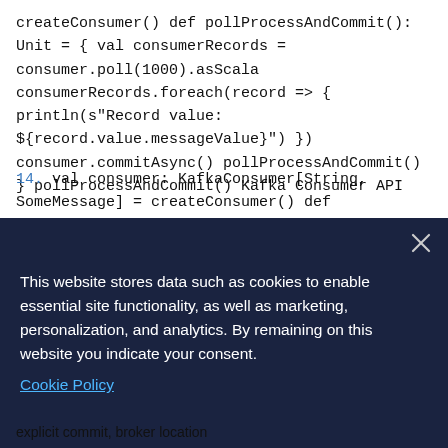createConsumer() def pollProcessAndCommit(): Unit = { val consumerRecords = consumer.poll(1000).asScala consumerRecords.foreach(record => { println(s"Record value: ${record.value.messageValue}") }) consumer.commitAsync() pollProcessAndCommit() } pollProcessAndCommit() Kafka Consumer API
14. val consumer: KafkaConsumer[String, SomeMessage] = createConsumer() def pollProcessAndCommit(): Unit = { val consumerRecords = consumer.poll(1000).asScala consumerRecords.foreach(record => { println(s"Record value: ${record.value.messageValue}") }) consumer.commitAsync()
This website stores data such as cookies to enable essential site functionality, as well as marketing, personalization, and analytics. By remaining on this website you indicate your consent.
Cookie Policy
explicit commit, broker location